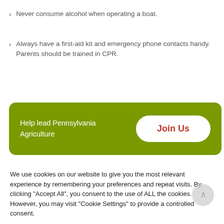Never consume alcohol when operating a boat.
Always have a first-aid kit and emergency phone contacts handy. Parents should be trained in CPR.
Help lead Pennsylvania Agriculture
Join Us
We use cookies on our website to give you the most relevant experience by remembering your preferences and repeat visits. By clicking “Accept All”, you consent to the use of ALL the cookies. However, you may visit "Cookie Settings" to provide a controlled consent.
Cookie Settings
Accept All